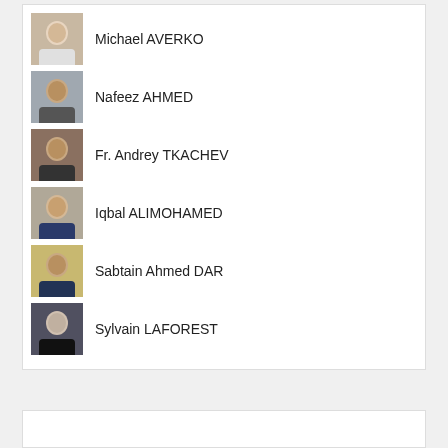Michael AVERKO
Nafeez AHMED
Fr. Andrey TKACHEV
Iqbal ALIMOHAMED
Sabtain Ahmed DAR
Sylvain LAFOREST